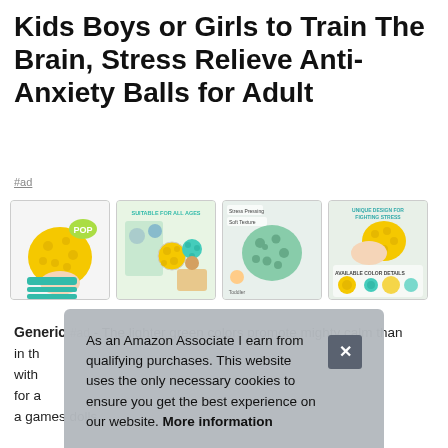Kids Boys or Girls to Train The Brain, Stress Relieve Anti-Anxiety Balls for Adult
#ad
[Figure (photo): Four product images of stress relief anti-anxiety balls: yellow bumpy ball held in hand with POP label, group of people using balls with 'Suitable for All Ages' text, mint green bumpy ball, and hand holding yellow ball with size comparison chart]
Generic #ad - The lighter green colors promote mighty calm than... in th... with... for a... a games dolls.
As an Amazon Associate I earn from qualifying purchases. This website uses the only necessary cookies to ensure you get the best experience on our website. More information